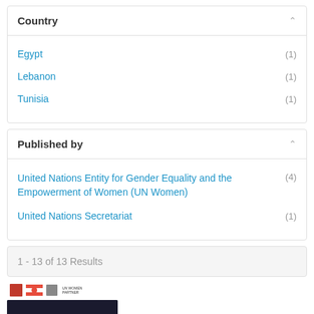Country
Egypt (1)
Lebanon (1)
Tunisia (1)
Published by
United Nations Entity for Gender Equality and the Empowerment of Women (UN Women) (4)
United Nations Secretariat (1)
1 - 13 of 13 Results
[Figure (photo): Thumbnail showing logos and a photo of people at a table with a red tablecloth]